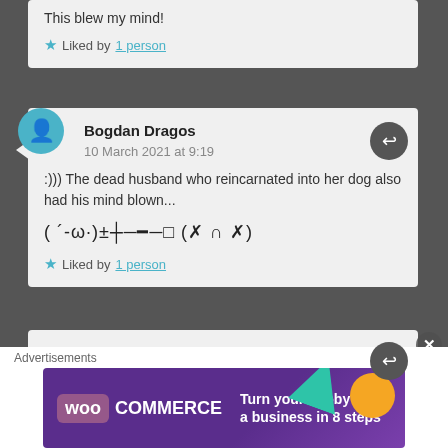This blew my mind!
★ Liked by 1 person
Bogdan Dragos
10 March 2021 at 9:19
:))) The dead husband who reincarnated into her dog also had his mind blown...
( ´-ω·)±┼─━─□ (✗ ∩ ✗)
★ Liked by 1 person
sharonanelle
Advertisements
[Figure (infographic): WooCommerce advertisement banner: Turn your hobby into a business in 8 steps]